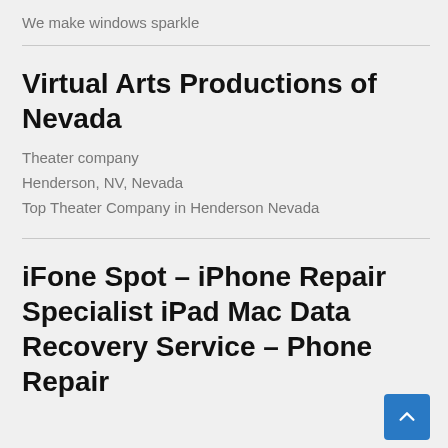We make windows sparkle
Virtual Arts Productions of Nevada
Theater company
Henderson, NV, Nevada
Top Theater Company in Henderson Nevada
iFone Spot – iPhone Repair Specialist iPad Mac Data Recovery Service – Phone Repair